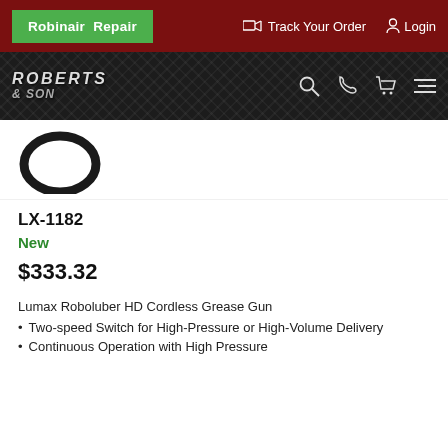Robinair Repair | Track Your Order | Login
[Figure (logo): Roberts & Son logo on diamond plate background]
[Figure (photo): Product image: circular O-ring or seal (black ring on white background)]
LX-1182
New
$333.32
Lumax Roboluber HD Cordless Grease Gun
Two-speed Switch for High-Pressure or High-Volume Delivery
Continuous Operation with High Pressure